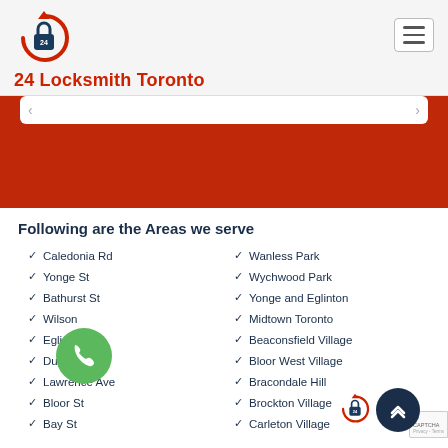24 Locksmith Toronto
[Figure (screenshot): Red banner section with white card and navigation arrows]
Following are the Areas we serve
Caledonia Rd
Wanless Park
Yonge St
Wychwood Park
Bathurst St
Yonge and Eglinton
Wilson
Midtown Toronto
Eglinton
Beaconsfield Village
Dufferin St
Bloor West Village
Lawrence Ave
Bracondale Hill
Bloor St
Brockton Village
Bay St
Carleton Village